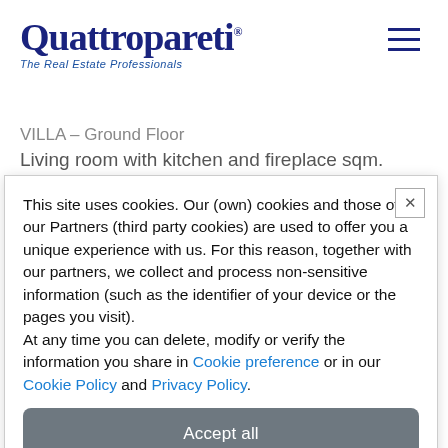Quattropareti.com – The Real Estate Professionals
VILLA – Ground Floor
Living room with kitchen and fireplace sqm. 58.00:
This site uses cookies. Our (own) cookies and those of our Partners (third party cookies) are used to offer you a unique experience with us. For this reason, together with our partners, we collect and process non-sensitive information (such as the identifier of your device or the pages you visit).
At any time you can delete, modify or verify the information you share in Cookie preference or in our Cookie Policy and Privacy Policy.
Accept all
Decline all
Customize